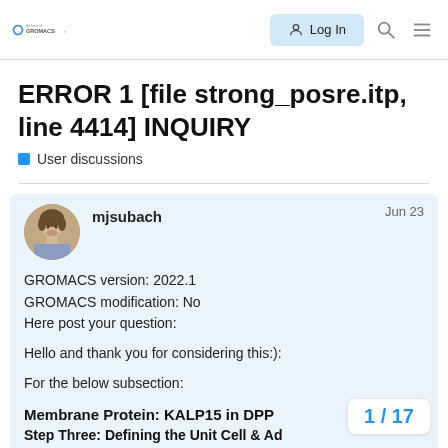GROMACS | Log In
ERROR 1 [file strong_posre.itp, line 4414] INQUIRY
User discussions
mjsubach   Jun 23
GROMACS version: 2022.1
GROMACS modification: No
Here post your question:

Hello and thank you for considering this:):

For the below subsection:
Membrane Protein: KALP15 in DPP
Step Three: Defining the Unit Cell & Ad
1 / 17